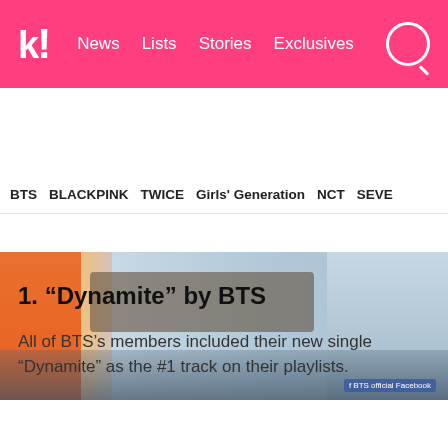k! News  Lists  Stories  Exclusives
BTS  BLACKPINK  TWICE  Girls' Generation  NCT  SEVE
[Figure (photo): Photo of BTS members showing belt and hands area, promotional photo]
1. “Dynamite” by BTS
All of BTS’s members included their new single “Dynamite” as the #1 track on their playlists.
[Figure (screenshot): YouTube video embed: HYBE LABELS channel, BTS (방탄소년단) 'Dynamite' Official MV (... with thumbnail showing BTS members]